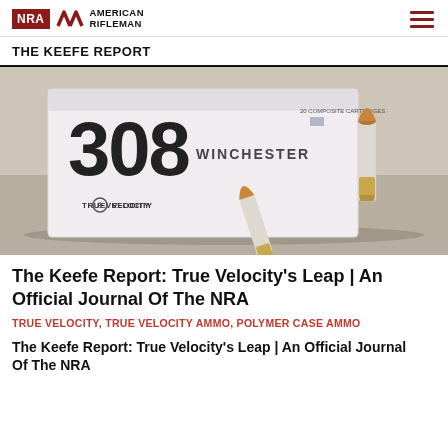NRA AMERICAN RIFLEMAN
THE KEEFE REPORT
[Figure (photo): A box of True Velocity 308 Winchester composite cartridges (20 count) with two individual bullets displayed in front, on a light wooden surface. The box is white with large bold '308 WINCHESTER' text and the True Velocity logo.]
The Keefe Report: True Velocity's Leap | An Official Journal Of The NRA
TRUE VELOCITY, TRUE VELOCITY AMMO, POLYMER CASE AMMO
The Keefe Report: True Velocity's Leap | An Official Journal Of The NRA